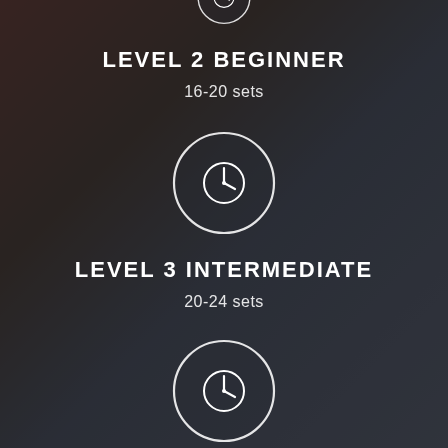[Figure (illustration): Partial circle icon with clock symbol at top of page, cropped at top edge]
LEVEL 2 BEGINNER
16-20 sets
[Figure (illustration): Circle icon containing a clock/timer symbol]
LEVEL 3 INTERMEDIATE
20-24 sets
[Figure (illustration): Circle icon containing a clock/timer symbol, partially visible at bottom]